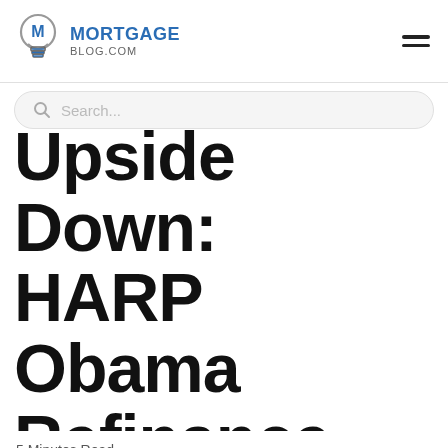MORTGAGE BLOG.COM
Upside Down: HARP Obama Refinance- Ultimate Guide +RateQuote
5 Minutes Read